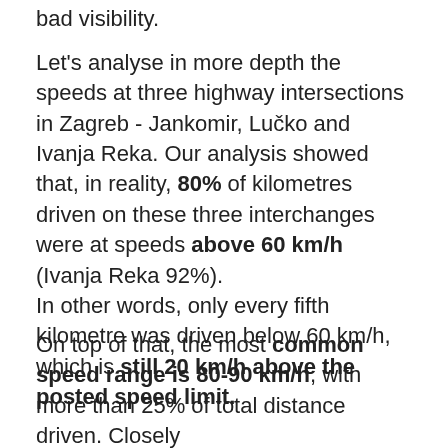bad visibility.
Let's analyse in more depth the speeds at three highway intersections in Zagreb - Jankomir, Lučko and Ivanja Reka. Our analysis showed that, in reality, 80% of kilometres driven on these three interchanges were at speeds above 60 km/h (Ivanja Reka 92%). In other words, only every fifth kilometre was driven below 60 km/h, which is still 20 km/h above the posted speed limit.
On top of that, the most common speed range is 80-90 km/h, with more than 25% of total distance driven. Closely